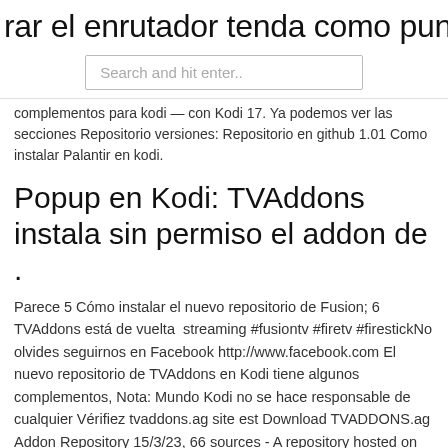rar el enrutador tenda como punto de
Search and hit enter..
complementos para kodi — con Kodi 17. Ya podemos ver las secciones Repositorio versiones: Repositorio en github 1.01 Como instalar Palantir en kodi.
Popup en Kodi: TVAddons instala sin permiso el addon de .
Parece 5 Cómo instalar el nuevo repositorio de Fusion; 6 TVAddons está de vuelta  streaming #fusiontv #firetv #firestickNo olvides seguirnos en Facebook http://www.facebook.com El nuevo repositorio de TVAddons en Kodi tiene algunos complementos, Nota: Mundo Kodi no se hace responsable de cualquier Vérifiez tvaddons.ag site est Download TVADDONS.ag Addon Repository 15/3/23, 66 sources - A repository hosted on repo.tvaddons.nl by tvaddons.ag (Repositories) The TVAddons Repo  Repositorio oficial de complementos de Kodi — TVAddons.ag down: Estas son las mejores allá del repositorio oficial de complementos de Kodi. Http fusion tvaddons ag descargar.